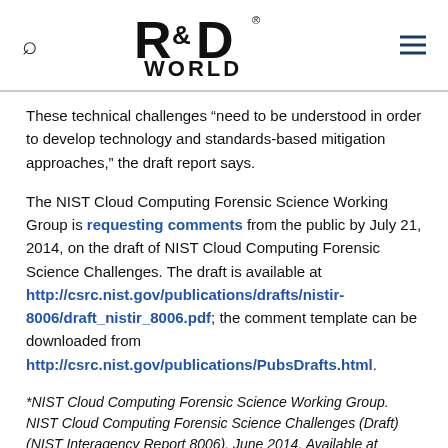R&D WORLD
These technical challenges “need to be understood in order to develop technology and standards-based mitigation approaches,” the draft report says.
The NIST Cloud Computing Forensic Science Working Group is requesting comments from the public by July 21, 2014, on the draft of NIST Cloud Computing Forensic Science Challenges. The draft is available at http://csrc.nist.gov/publications/drafts/nistir-8006/draft_nistir_8006.pdf; the comment template can be downloaded from http://csrc.nist.gov/publications/PubsDrafts.html.
*NIST Cloud Computing Forensic Science Working Group. NIST Cloud Computing Forensic Science Challenges (Draft) (NIST Interagency Report 8006). June 2014. Available at